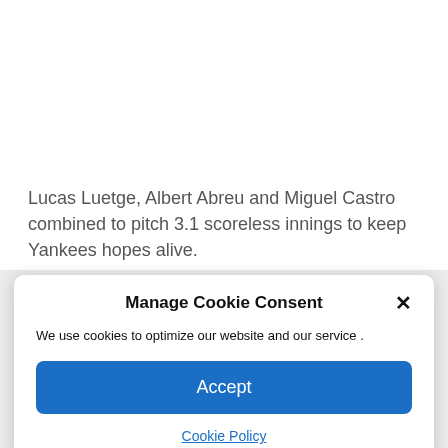Lucas Luetge, Albert Abreu and Miguel Castro combined to pitch 3.1 scoreless innings to keep Yankees hopes alive.
Manage Cookie Consent
We use cookies to optimize our website and our service .
Accept
Cookie Policy